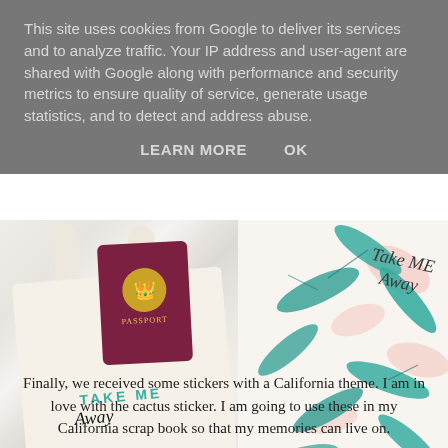This site uses cookies from Google to deliver its services and to analyze traffic. Your IP address and user-agent are shared with Google along with performance and security metrics to ensure quality of service, generate usage statistics, and to detect and address abuse.
LEARN MORE   OK
[Figure (photo): A canvas tote bag with 'TAKE ME Away' printed on it, a burgundy UK passport, and a white tropical leaf-patterned fabric, arranged on a marble surface.]
Finally, we received some stickers with a California theme. I am in love with the cactus sticker. I am going to use these in my California scrap book so that my memories can live on.